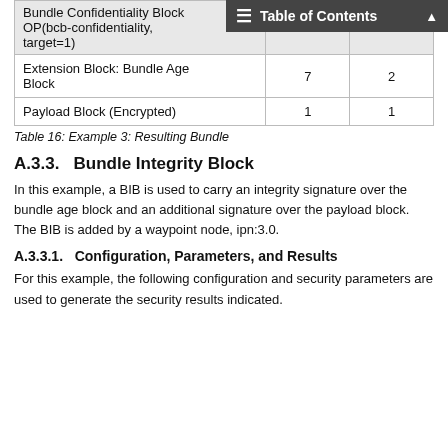|  |  |  |
| --- | --- | --- |
| Bundle Confidentiality Block OP(bcb-confidentiality, target=1) |  |  |
| Extension Block: Bundle Age Block | 7 | 2 |
| Payload Block (Encrypted) | 1 | 1 |
Table 16: Example 3: Resulting Bundle
A.3.3.  Bundle Integrity Block
In this example, a BIB is used to carry an integrity signature over the bundle age block and an additional signature over the payload block. The BIB is added by a waypoint node, ipn:3.0.
A.3.3.1.  Configuration, Parameters, and Results
For this example, the following configuration and security parameters are used to generate the security results indicated.